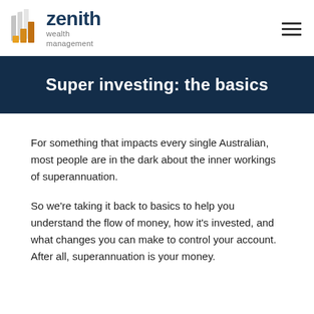[Figure (logo): Zenith Wealth Management logo with stacked bar icon in gold and grey, company name in dark navy]
Super investing: the basics
For something that impacts every single Australian, most people are in the dark about the inner workings of superannuation.
So we're taking it back to basics to help you understand the flow of money, how it's invested, and what changes you can make to control your account. After all, superannuation is your money.